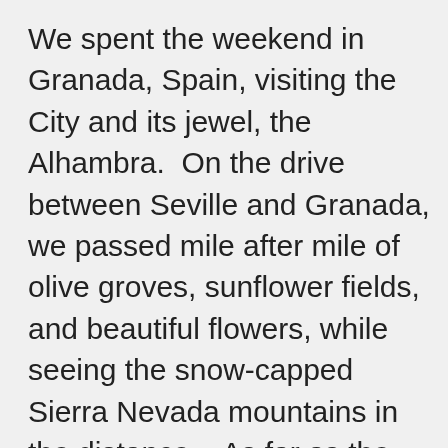We spent the weekend in Granada, Spain, visiting the City and its jewel, the Alhambra.  On the drive between Seville and Granada, we passed mile after mile of olive groves, sunflower fields, and beautiful flowers, while seeing the snow-capped Sierra Nevada mountains in the distance.   As far as the eye could see, every hill and valley was planted with rows of crops.  Andalusía is the world's leading producer of olive oil, and we saw enough olive trees in all directions to support that claim.  Pomegranate trees, orange trees, rose bushes and many other trees and flowers thrive in the warm and sunny